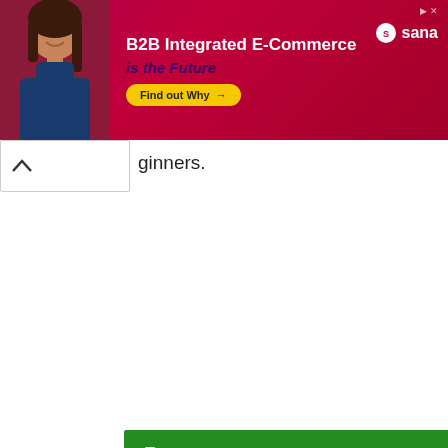[Figure (other): Advertisement banner for Sana Commerce: B2B Integrated E-Commerce is the Future, with Find out Why button and woman photo]
ginners.
Pros
Easy to maneuver
Perfect for beginners
Easy to handle
Cons
Not ideal for advanced players